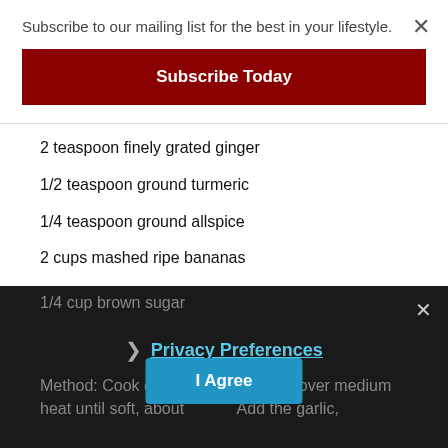Subscribe to our mailing list for the best in your lifestyle.
Subscribe Today
2 teaspoon finely grated ginger
1/2 teaspoon ground turmeric
1/4 teaspoon ground allspice
2 cups mashed ripe bananas
1/2 cup white wine vinegar
2 tablespoon honey
1 tablespoon tomato paste
2 tablespoon soy sauce
1/4 cup brown sugar
Privacy Preferences
I Agree
Method: Cook onions in vegetable oil over medium heat until soft, about 5 minutes. Add the garlic,